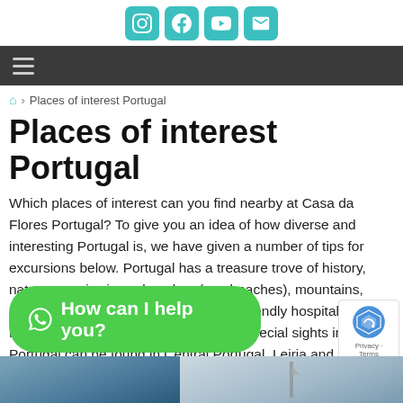[Figure (other): Social media icon bar with teal rounded square icons for Instagram, Facebook, YouTube, and Email]
[Figure (other): Dark grey navigation bar with hamburger menu icon (three horizontal lines)]
Places of interest Portugal
Places of interest Portugal
Which places of interest can you find nearby at Casa da Flores Portugal? To give you an idea of how diverse and interesting Portugal is, we have given a number of tips for excursions below. Portugal has a treasure trove of history, nature, scenic views, beaches (see beaches), mountains, rivers and much more… all within the friendly hospitality of the Portuguese people. Many of the most special sights in Portugal can be found in Central Portugal, Leiria and are easy to visit from Casa das Flores. 3 of the 7 wonders of Portugal are in the district of Leiria (Castle of Obidos, Monastery of Batalha and Monastery of Alcobaça). In addition, there are special locations on the UNESCO World Heritage list, such as the Unive... Come and see for...
[Figure (other): Green WhatsApp chat button with text 'How can I help you?']
[Figure (other): Google reCAPTCHA badge with logo and Privacy/Terms links]
[Figure (photo): Bottom strip showing partial landscape/sky photos]